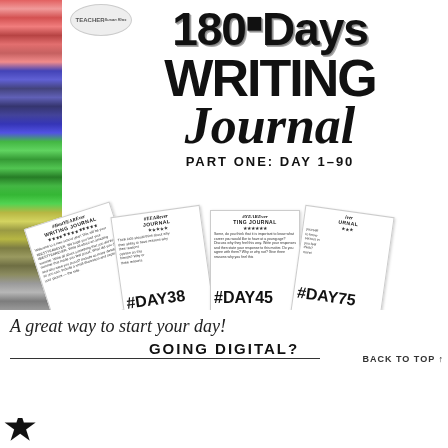[Figure (illustration): Cover of '180 Days Writing Journal Part One: Day 1-90' educational product. Shows stacked colorful books on the left spine, large bold title text '180 Days WRITING Journal PART ONE: DAY 1-90', and a fan of sample journal pages showing days #DAY1, #DAY38, #DAY45, #DAY75 with writing prompts. Teacher logo circle in top left corner.]
A great way to start your day!
GOING DIGITAL?
BACK TO TOP ↑